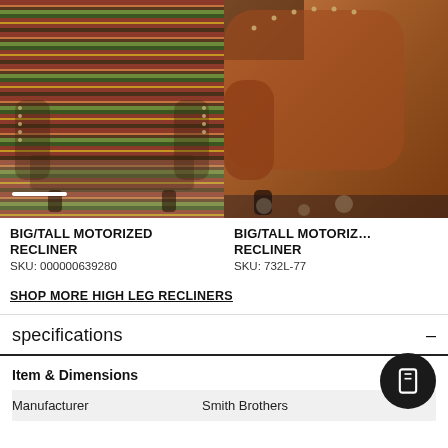[Figure (photo): Striped fabric high-leg motorized recliner chair in multi-color stripes (red, green, gold) with nailhead trim, set in a warm-toned room. White progress bar indicator at bottom left.]
[Figure (photo): Brown leather high-leg motorized recliner with nailhead trim, partially visible, set on a patterned rug.]
BIG/TALL MOTORIZED RECLINER
SKU: 000000639280
BIG/TALL MOTORIZED RECLINER
SKU: 732L-77
SHOP MORE HIGH LEG RECLINERS
specifications
Item & Dimensions
|  |  |
| --- | --- |
| Manufacturer | Smith Brothers |